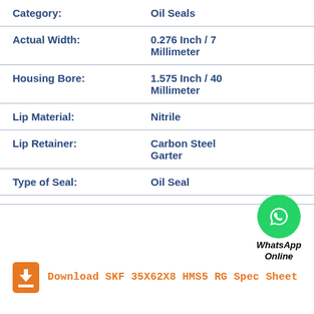| Category | Oil Seals |
| --- | --- |
| Actual Width: | 0.276 Inch / 7 Millimeter |
| Housing Bore: | 1.575 Inch / 40 Millimeter |
| Lip Material: | Nitrile |
| Lip Retainer: | Carbon Steel Garter |
| Type of Seal: | Oil Seal |
[Figure (logo): WhatsApp Online green circle icon with phone handset symbol and text 'WhatsApp Online']
Download SKF 35X62X8 HMS5 RG Spec Sheet